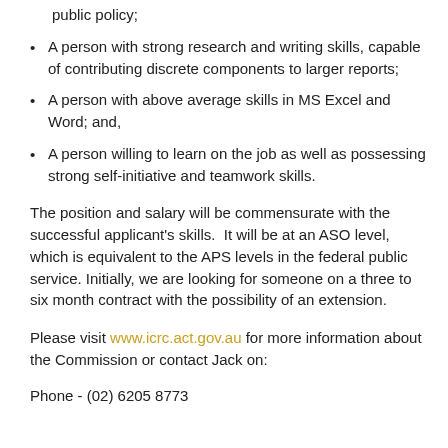public policy;
A person with strong research and writing skills, capable of contributing discrete components to larger reports;
A person with above average skills in MS Excel and Word; and,
A person willing to learn on the job as well as possessing strong self-initiative and teamwork skills.
The position and salary will be commensurate with the successful applicant's skills.  It will be at an ASO level, which is equivalent to the APS levels in the federal public service.  Initially, we are looking for someone on a three to six month contract with the possibility of an extension.
Please visit www.icrc.act.gov.au for more information about the Commission or contact Jack on:
Phone - (02) 6205 8773